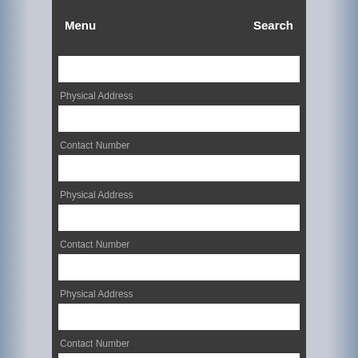Menu    Search
Physical Address
Contact Number
Physical Address
Contact Number
Physical Address
Contact Number
Physical Address